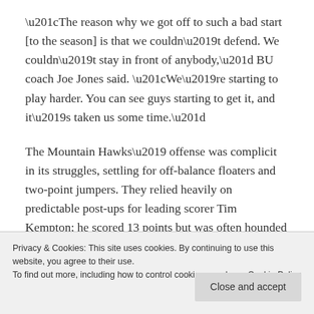“The reason why we got off to such a bad start [to the season] is that we couldn’t defend. We couldn’t stay in front of anybody,” BU coach Joe Jones said. “We’re starting to play harder. You can see guys starting to get it, and it’s taken us some time.”
The Mountain Hawks’ offense was complicit in its struggles, settling for off-balance floaters and two-point jumpers. They relied heavily on predictable post-ups for leading scorer Tim Kempton; he scored 13 points but was often hounded by Justin Alston and a pesky help
Privacy & Cookies: This site uses cookies. By continuing to use this website, you agree to their use.
To find out more, including how to control cookies, see here: Cookie Policy